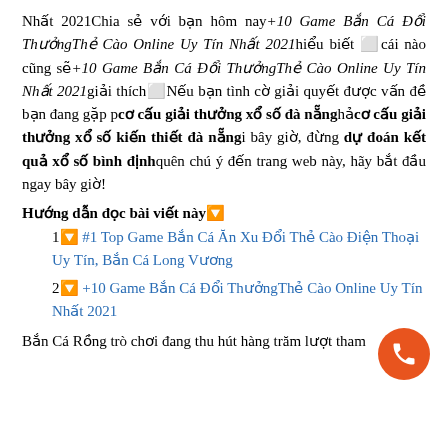Nhất 2021Chia sẻ với bạn hôm nay+10 Game Bắn Cá Đổi ThưởngThẻ Cào Online Uy Tín Nhất 2021hiểu biết cái nào cũng sẽ+10 Game Bắn Cá Đổi ThưởngThẻ Cào Online Uy Tín Nhất 2021giải thích Nếu bạn tình cờ giải quyết được vấn đề bạn đang gặp pcơ cấu giải thưởng xổ số đà nẵnghảcơ cấu giải thưởng xổ số kiến thiết đà nẵngi bây giờ, đừng dự đoán kết quả xổ số bình địnhquên chú ý đến trang web này, hãy bắt đầu ngay bây giờ!
Hướng dẫn đọc bài viết này🔽
1🔽 #1 Top Game Bắn Cá Ăn Xu Đổi Thẻ Cào Điện Thoại Uy Tín, Bắn Cá Long Vương
2🔽 +10 Game Bắn Cá Đổi ThưởngThẻ Cào Online Uy Tín Nhất 2021
Bắn Cá Rồng trò chơi đang thu hút hàng trăm lượt tham